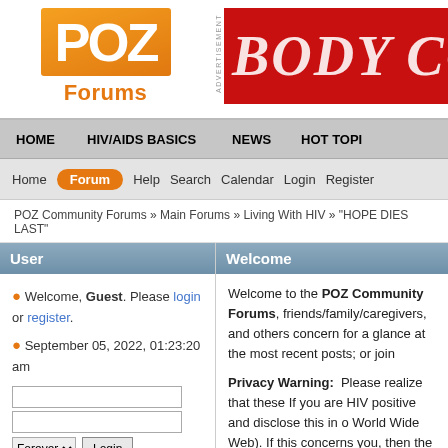[Figure (logo): POZ Forums logo with orange square containing white POZ text and orange Forums text below]
[Figure (illustration): Advertisement banner with red background and white italic text reading BODY COUN (truncated)]
HOME   HIV/AIDS BASICS   NEWS   HOT TOPI
Home  Forum  Help  Search  Calendar  Login  Register
POZ Community Forums » Main Forums » Living With HIV » "HOPE DIES LAST"
User
Welcome
Welcome, Guest. Please login or register.
September 05, 2022, 01:23:20 am
Welcome to the POZ Community Forums, friends/family/caregivers, and others concern for a glance at the most recent posts; or join
Privacy Warning: Please realize that these If you are HIV positive and disclose this in o World Wide Web). If this concerns you, then the deletion of anything you post in these fo
Login with username.